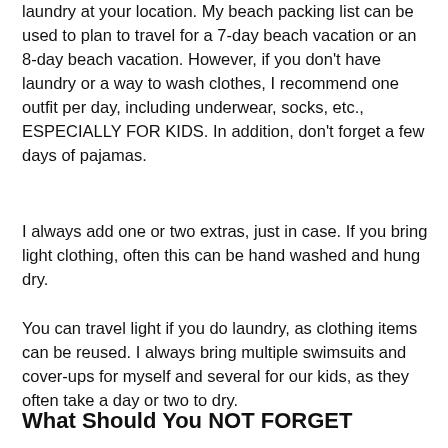laundry at your location. My beach packing list can be used to plan to travel for a 7-day beach vacation or an 8-day beach vacation. However, if you don't have laundry or a way to wash clothes, I recommend one outfit per day, including underwear, socks, etc., ESPECIALLY FOR KIDS. In addition, don't forget a few days of pajamas.
I always add one or two extras, just in case. If you bring light clothing, often this can be hand washed and hung dry.
You can travel light if you do laundry, as clothing items can be reused. I always bring multiple swimsuits and cover-ups for myself and several for our kids, as they often take a day or two to dry.
What Should You NOT FORGET